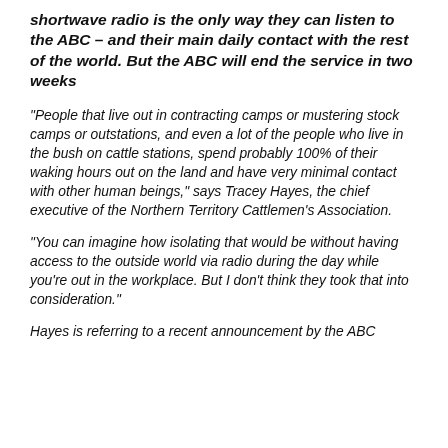shortwave radio is the only way they can listen to the ABC – and their main daily contact with the rest of the world. But the ABC will end the service in two weeks
“People that live out in contracting camps or mustering stock camps or outstations, and even a lot of the people who live in the bush on cattle stations, spend probably 100% of their waking hours out on the land and have very minimal contact with other human beings,” says Tracey Hayes, the chief executive of the Northern Territory Cattlemen’s Association.
“You can imagine how isolating that would be without having access to the outside world via radio during the day while you’re out in the workplace. But I don’t think they took that into consideration.”
Hayes is referring to a recent announcement by the ABC